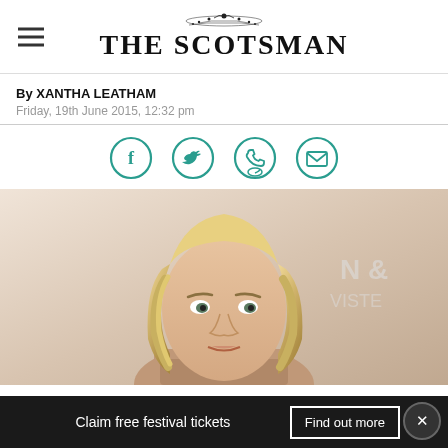THE SCOTSMAN
By XANTHA LEATHAM
Friday, 19th June 2015, 12:32 pm
[Figure (infographic): Social sharing icons: Facebook, Twitter, WhatsApp/phone, Email — teal circular outline icons]
[Figure (photo): Photo of a woman with long blonde hair, looking slightly to the side, in front of a light background with partial text visible]
Claim free festival tickets   Find out more